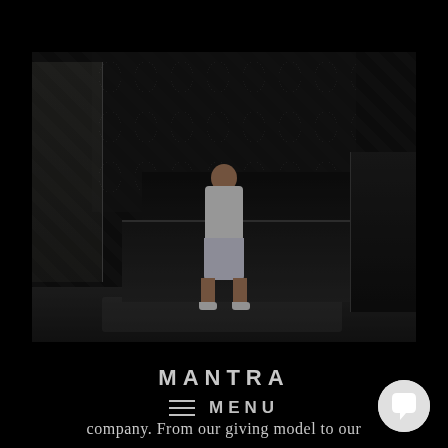[Figure (photo): Dark-toned photo of a man in white shorts and t-shirt standing in a luxury bedroom with dark patterned wallpaper, black bed frame, and dim lighting.]
MANTRA
≡  MENU
company. From our giving model to our